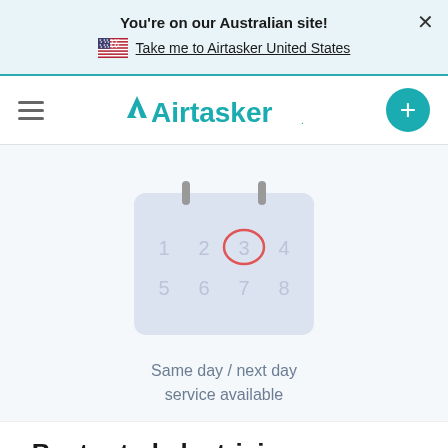You're on our Australian site!
Take me to Airtasker United States
[Figure (logo): Airtasker logo with teal color and hamburger menu, plus button]
[Figure (illustration): Calendar icon with numbers 1-8, number 3 circled in red]
Same day / next day service available
Best rated electricians near me